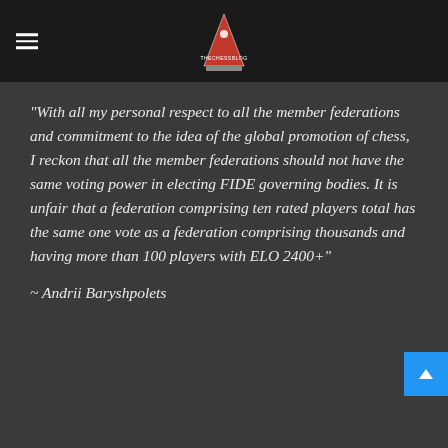[The Chess Blog logo and navigation]
“With all my personal respect to all the member federations and commitment to the idea of the global promotion of chess, I reckon that all the member federations should not have the same voting power in electing FIDE governing bodies. It is unfair that a federation comprising ten rated players total has the same one vote as a federation comprising thousands and having more than 100 players with ELO 2400+”
~ Andrii Baryshpolets